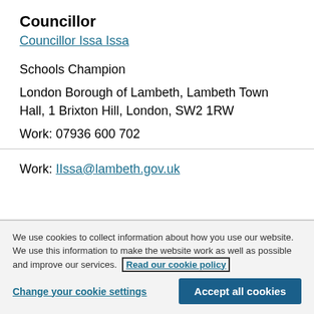Councillor
Councillor Issa Issa
Schools Champion
London Borough of Lambeth, Lambeth Town Hall, 1 Brixton Hill, London, SW2 1RW
Work: 07936 600 702
Work: IIssa@lambeth.gov.uk
We use cookies to collect information about how you use our website. We use this information to make the website work as well as possible and improve our services. Read our cookie policy
Change your cookie settings
Accept all cookies